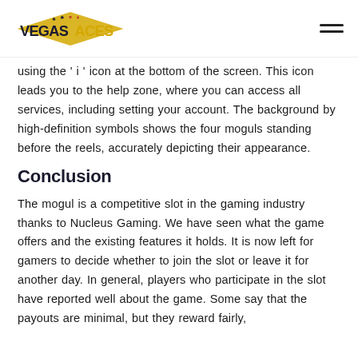Vegas Aces logo and navigation
using the 'i' icon at the bottom of the screen. This icon leads you to the help zone, where you can access all services, including setting your account. The background by high-definition symbols shows the four moguls standing before the reels, accurately depicting their appearance.
Conclusion
The mogul is a competitive slot in the gaming industry thanks to Nucleus Gaming. We have seen what the game offers and the existing features it holds. It is now left for gamers to decide whether to join the slot or leave it for another day. In general, players who participate in the slot have reported well about the game. Some say that the payouts are minimal, but they reward fairly,